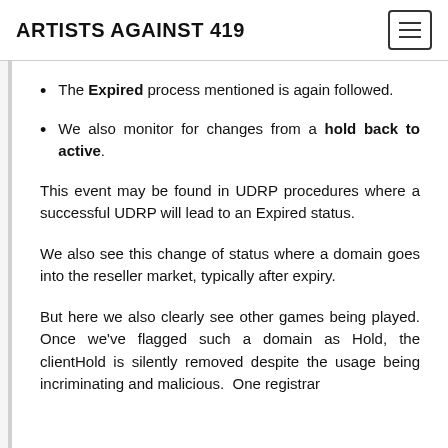ARTISTS AGAINST 419
The Expired process mentioned is again followed.
We also monitor for changes from a hold back to active.
This event may be found in UDRP procedures where a successful UDRP will lead to an Expired status.
We also see this change of status where a domain goes into the reseller market, typically after expiry.
But here we also clearly see other games being played. Once we've flagged such a domain as Hold, the clientHold is silently removed despite the usage being incriminating and malicious.  One registrar